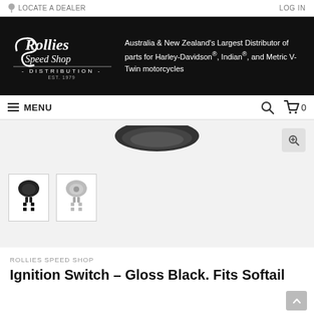LOCATE A DEALER   LOG IN
[Figure (logo): Rollies Speed Shop Distribution - Est. 1979 logo in white on black background]
Australia & New Zealand's Largest Distributor of parts for Harley-Davidson®, Indian®, and Metric V-Twin motorcycles
MENU
[Figure (photo): Product image of ignition switch - gloss black, partially visible at top, with two thumbnail images below showing different angles of the ignition switch]
ROLLIES SPEED SHOP
Ignition Switch – Gloss Black. Fits Softail